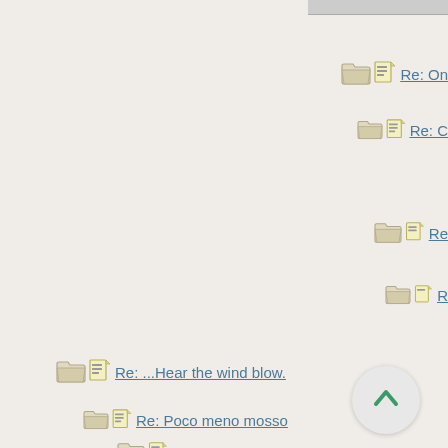Re: On
Re: C
Re:
R
Re: ...Hear the wind blow.
Re: Poco meno mosso
- - it's all in the approach